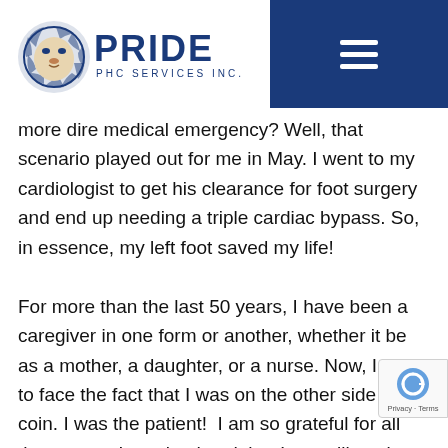[Figure (logo): Pride PHC Services Inc. logo with lion head graphic and blue text]
more dire medical emergency? Well, that scenario played out for me in May. I went to my cardiologist to get his clearance for foot surgery and end up needing a triple cardiac bypass. So, in essence, my left foot saved my life!

For more than the last 50 years, I have been a caregiver in one form or another, whether it be as a mother, a daughter, or a nurse. Now, I had to face the fact that I was on the other side of the coin. I was the patient!  I am so grateful for all the support I received and that I am still getting from my family friends and the staff at Pride. I couldn't do it without